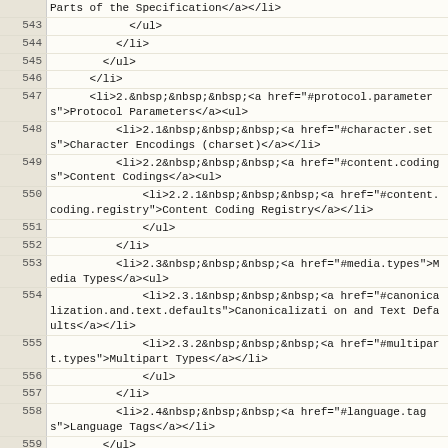| line | code |
| --- | --- |
|  | Parts of the Specification</a></li> |
| 543 |             </ul> |
| 544 |           </li> |
| 545 |         </ul> |
| 546 |       </li> |
| 547 |       <li>2.&nbsp;&nbsp;&nbsp;<a href="#protocol.parameters">Protocol Parameters</a><ul> |
| 548 |           <li>2.1&nbsp;&nbsp;&nbsp;<a href="#character.sets">Character Encodings (charset)</a></li> |
| 549 |           <li>2.2&nbsp;&nbsp;&nbsp;<a href="#content.codings">Content Codings</a><ul> |
| 550 |               <li>2.2.1&nbsp;&nbsp;&nbsp;<a href="#content.coding.registry">Content Coding Registry</a></li> |
| 551 |               </ul> |
| 552 |           </li> |
| 553 |           <li>2.3&nbsp;&nbsp;&nbsp;<a href="#media.types">Media Types</a><ul> |
| 554 |               <li>2.3.1&nbsp;&nbsp;&nbsp;<a href="#canonicalization.and.text.defaults">Canonicalization and Text Defaults</a></li> |
| 555 |               <li>2.3.2&nbsp;&nbsp;&nbsp;<a href="#multipart.types">Multipart Types</a></li> |
| 556 |               </ul> |
| 557 |           </li> |
| 558 |           <li>2.4&nbsp;&nbsp;&nbsp;<a href="#language.tags">Language Tags</a></li> |
| 559 |         </ul> |
| 560 |       </li> |
| 561 |       <li>3.&nbsp;&nbsp;&nbsp;<a href="#payload">Payload</a><ul> |
| 562 |           <li>3.1&nbsp;&nbsp;&nbsp;<a href="#payload.header.fields">Payload Header Fields</a> |